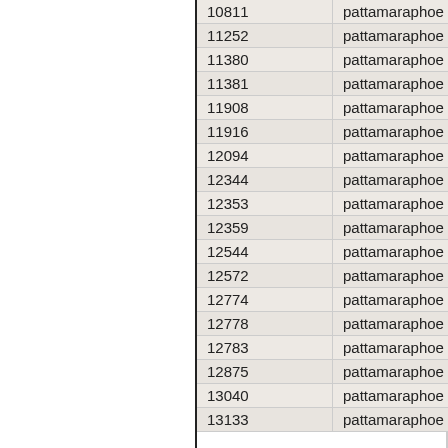| 10811 | pattamaraphoe |
| 11252 | pattamaraphoe |
| 11380 | pattamaraphoe |
| 11381 | pattamaraphoe |
| 11908 | pattamaraphoe |
| 11916 | pattamaraphoe |
| 12094 | pattamaraphoe |
| 12344 | pattamaraphoe |
| 12353 | pattamaraphoe |
| 12359 | pattamaraphoe |
| 12544 | pattamaraphoe |
| 12572 | pattamaraphoe |
| 12774 | pattamaraphoe |
| 12778 | pattamaraphoe |
| 12783 | pattamaraphoe |
| 12875 | pattamaraphoe |
| 13040 | pattamaraphoe |
| 13133 | pattamaraphoe |